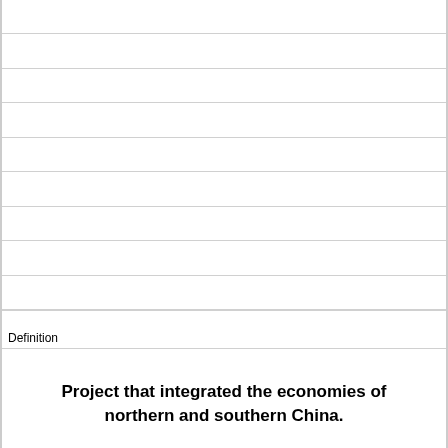Definition
Project that integrated the economies of northern and southern China.
Term
Neo-Confucianism